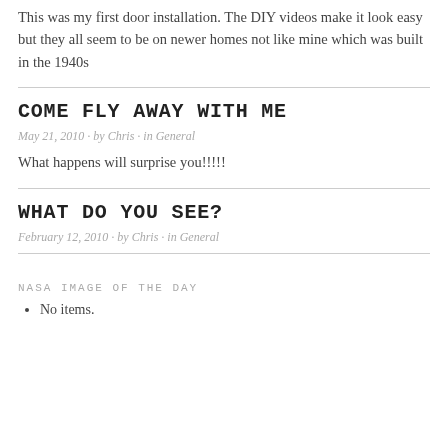This was my first door installation. The DIY videos make it look easy but they all seem to be on newer homes not like mine which was built in the 1940s
COME FLY AWAY WITH ME
May 21, 2010 · by Chris · in General
What happens will surprise you!!!!!
WHAT DO YOU SEE?
February 12, 2010 · by Chris · in General
NASA IMAGE OF THE DAY
No items.